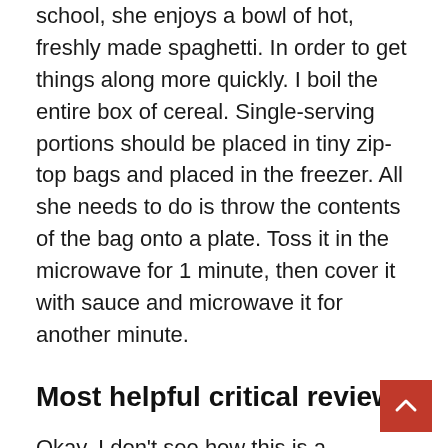school, she enjoys a bowl of hot, freshly made spaghetti. In order to get things along more quickly. I boil the entire box of cereal. Single-serving portions should be placed in tiny zip-top bags and placed in the freezer. All she needs to do is throw the contents of the bag onto a plate. Toss it in the microwave for 1 minute, then cover it with sauce and microwave it for another minute.
Most helpful critical review
Okay, I don't see how this is a significant time saver. What takes the most time is getting the water to a boil in the first place. The warming step involves bringing the water back to a boil for the second time. In my opinion, it is preferable to just cook the